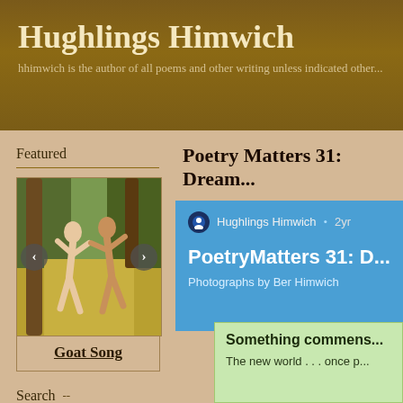Hughlings Himwich
hhimwich is the author of all poems and other writing unless indicated other...
Featured
[Figure (illustration): Painting of two nude figures dancing in a forest setting]
Goat Song
Search
Poetry Matters 31: Dream...
Hughlings Himwich · 2yr
PoetryMatters 31: D...
Photographs by Ber Himwich
Something commens...
The new world . . . once p...